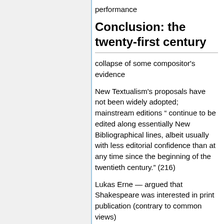performance
Conclusion: the twenty-first century
collapse of some compositor's evidence
New Textualism's proposals have not been widely adopted; mainstream editions " continue to be edited along essentially New Bibliographical lines, albeit usually with less editorial confidence than at any time since the beginning of the twentieth century." (216)
Lukas Erne — argued that Shakespeare was interested in print publication (contrary to common views)
"At the height of author-centred New Bibligoraphy, Erne's conclusions would have mattered little, but for a